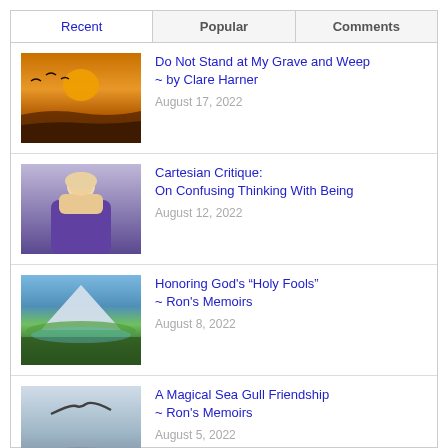Recent | Popular | Comments
[Figure (photo): Sunset over ocean with birds silhouetted against orange sky]
Do Not Stand at My Grave and Weep ~ by Clare Harner
August 17, 2022
[Figure (photo): Elderly bearded sage or philosopher figure in purple robe]
Cartesian Critique: On Confusing Thinking With Being
August 12, 2022
[Figure (photo): Mountain landscape with lake and green meadows in misty morning]
Honoring God's "Holy Fools" ~ Ron's Memoirs
August 8, 2022
[Figure (photo): Seagull flying over bay with bridge in foggy background]
A Magical Sea Gull Friendship ~ Ron's Memoirs
August 5, 2022